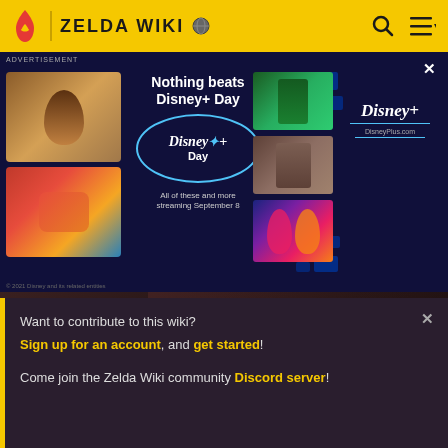ZELDA WIKI
[Figure (screenshot): Disney+ Day advertisement banner with Disney+ logo, movie thumbnails, and text 'Nothing beats Disney+ Day - All of these and more streaming September 8']
ADVERTISEMENT
[Figure (screenshot): Twinrova character hero image from Zelda Wiki - showing Twinrova character art with dark background]
Twinrova
Zelda Wiki
Want to contribute to this wiki? Sign up for an account, and get started! Come join the Zelda Wiki community Discord server!